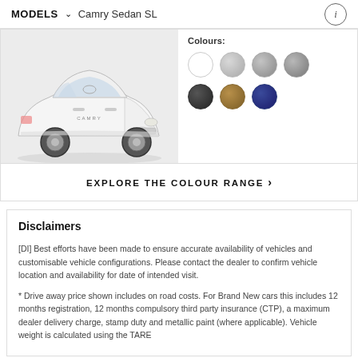MODELS  ∨  Camry Sedan SL
[Figure (photo): White Toyota Camry SL sedan, front three-quarter view, shown on a light grey background]
Colours:
EXPLORE THE COLOUR RANGE >
Disclaimers
[DI] Best efforts have been made to ensure accurate availability of vehicles and customisable vehicle configurations. Please contact the dealer to confirm vehicle location and availability for date of intended visit.
* Drive away price shown includes on road costs. For Brand New cars this includes 12 months registration, 12 months compulsory third party insurance (CTP), a maximum dealer delivery charge, stamp duty and metallic paint (where applicable). Vehicle weight is calculated using the TARE